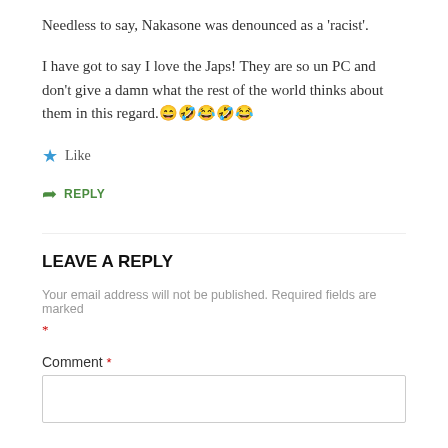Needless to say, Nakasone was denounced as a 'racist'.
I have got to say I love the Japs! They are so un PC and don't give a damn what the rest of the world thinks about them in this regard. 😄🤣😂🤣😂
★ Like
➦ REPLY
LEAVE A REPLY
Your email address will not be published. Required fields are marked *
Comment *